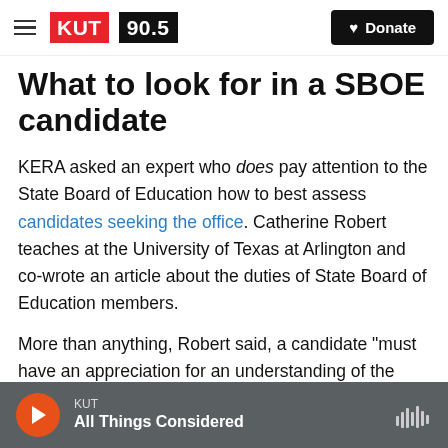KUT 90.5 | Donate
What to look for in a SBOE candidate
KERA asked an expert who does pay attention to the State Board of Education how to best assess candidates seeking the office. Catherine Robert teaches at the University of Texas at Arlington and co-wrote an article about the duties of State Board of Education members.
More than anything, Robert said, a candidate "must have an appreciation for an understanding of the vast complexity of the Texas Public School
KUT | All Things Considered